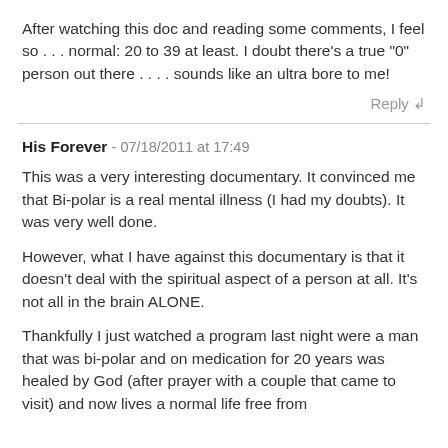After watching this doc and reading some comments, I feel so . . . normal: 20 to 39 at least. I doubt there's a true "0" person out there . . . . sounds like an ultra bore to me!
Reply ↲
His Forever - 07/18/2011 at 17:49
This was a very interesting documentary. It convinced me that Bi-polar is a real mental illness (I had my doubts). It was very well done.
However, what I have against this documentary is that it doesn't deal with the spiritual aspect of a person at all. It's not all in the brain ALONE.
Thankfully I just watched a program last night were a man that was bi-polar and on medication for 20 years was healed by God (after prayer with a couple that came to visit) and now lives a normal life free from